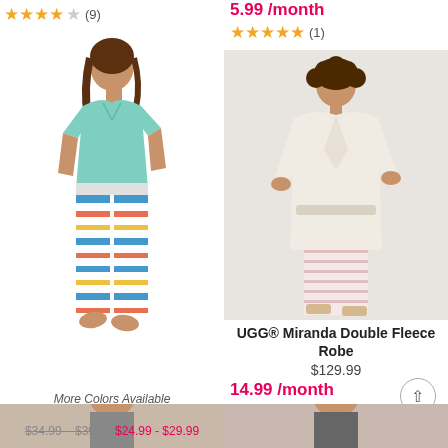★★★★☆ (9)
5.99 /month
★★★★★ (1)
[Figure (photo): Woman wearing teal short-sleeved top and multicolored striped capri pants]
[Figure (photo): Woman wearing cream/beige double fleece robe with pink striped pants]
More Colors Available
Cooling Short-Sleeved Sleep Set
$34.99 – $39.99 $24.99 - $29.99
5.99 /month*
★★★★★ (4)
UGG® Miranda Double Fleece Robe
$129.99
14.99 /month
Back to Top
[Figure (photo): Partial photo of woman at bottom left]
[Figure (photo): Partial photo of woman at bottom right]